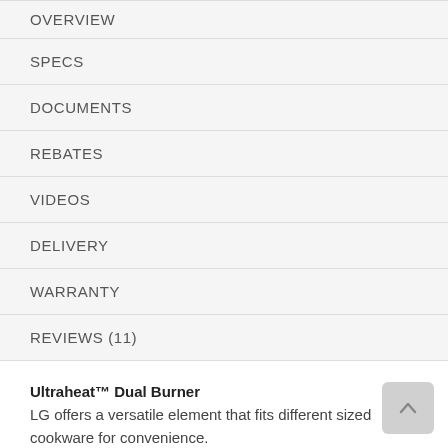OVERVIEW
SPECS
DOCUMENTS
REBATES
VIDEOS
DELIVERY
WARRANTY
REVIEWS (11)
Ultraheat™ Dual Burner LG offers a versatile element that fits different sized cookware for convenience.